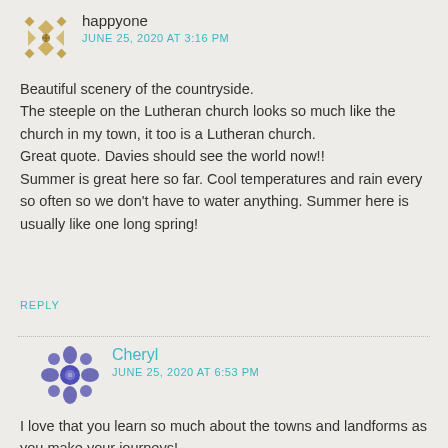[Figure (illustration): Avatar/gravatar icon for user happyone - decorative geometric pattern in gold/brown tones]
happyone
JUNE 25, 2020 AT 3:16 PM
Beautiful scenery of the countryside.
The steeple on the Lutheran church looks so much like the church in my town, it too is a Lutheran church.
Great quote. Davies should see the world now!!
Summer is great here so far. Cool temperatures and rain every so often so we don't have to water anything. Summer here is usually like one long spring!
REPLY
[Figure (illustration): Avatar/gravatar icon for user Cheryl - decorative geometric pattern in blue/purple tones]
Cheryl
JUNE 25, 2020 AT 6:53 PM
I love that you learn so much about the towns and landforms as you make your journeys!